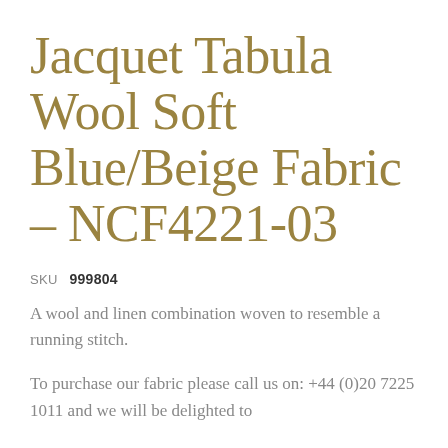Jacquet Tabula Wool Soft Blue/Beige Fabric – NCF4221-03
SKU  999804
A wool and linen combination woven to resemble a running stitch.
To purchase our fabric please call us on: +44 (0)20 7225 1011 and we will be delighted to